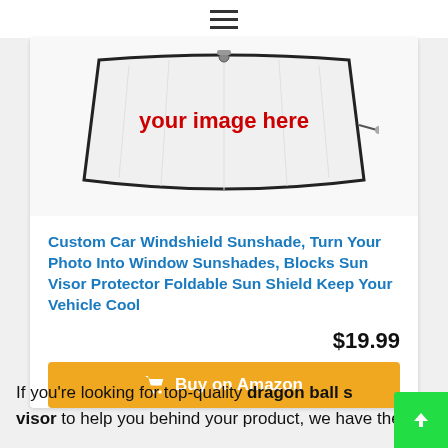≡
[Figure (photo): Product image of a car windshield sunshade with text 'your image here' in red on a white shade]
Custom Car Windshield Sunshade, Turn Your Photo Into Window Sunshades, Blocks Sun Visor Protector Foldable Sun Shield Keep Your Vehicle Cool
$19.99
Buy on Amazon
If you're looking for top-quality dragon ball sun visor to help you behind your product, we have the